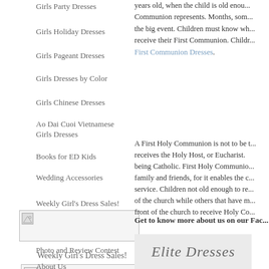Girls Party Dresses
Girls Holiday Dresses
Girls Pageant Dresses
Girls Dresses by Color
Girls Chinese Dresses
Ao Dai Cuoi Vietnamese Girls Dresses
Books for ED Kids
Wedding Accessories
Weekly Girl's Dress Sales!
[Figure (other): Broken image placeholder]
Photo and Review Contest
About Us
years old, when the child is old enou... Communion represents. Months, som... the big event. Children must know wh... receive their First Communion. Childr... First Communion Dresses.
A First Holy Communion is not to be t... receives the Holy Host, or Eucharist... being Catholic. First Holy Communio... family and friends, for it enables the c... service. Children not old enough to re... of the church while others that have m... front of the church to receive Holy Co...
Get to know more about us on our Fac...
[Figure (logo): Elite Dresses logo in cursive script on light gray background]